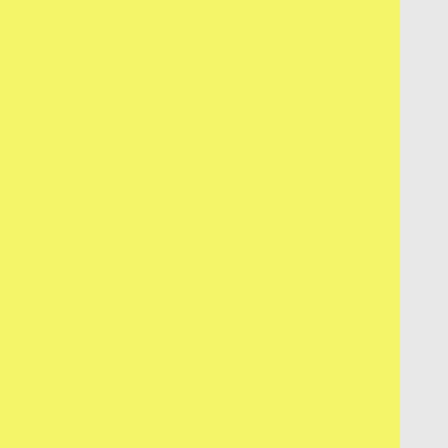s to understand what was going on, and then it's just too thin and watery. The dialogue